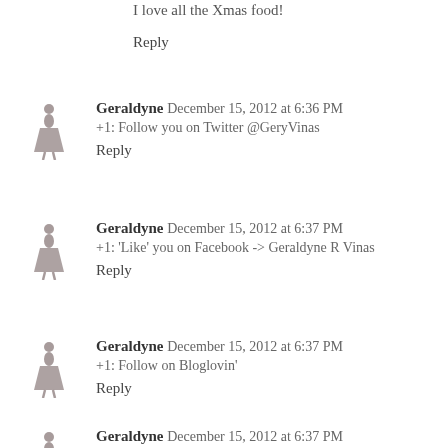I love all the Xmas food!
Reply
Geraldyne  December 15, 2012 at 6:36 PM
+1: Follow you on Twitter @GeryVinas
Reply
Geraldyne  December 15, 2012 at 6:37 PM
+1: 'Like' you on Facebook -> Geraldyne R Vinas
Reply
Geraldyne  December 15, 2012 at 6:37 PM
+1: Follow on Bloglovin'
Reply
Geraldyne  December 15, 2012 at 6:37 PM